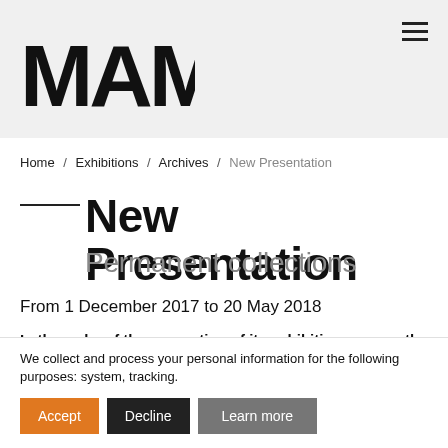[Figure (logo): MAM museum logo in black bold lettering]
Home / Exhibitions / Archives / New Presentation
New Presentation
Permanent collections
From 1 December 2017 to 20 May 2018
In the wake of the renovation of its exhibition spaces, the Museum
We collect and process your personal information for the following purposes: system, tracking.